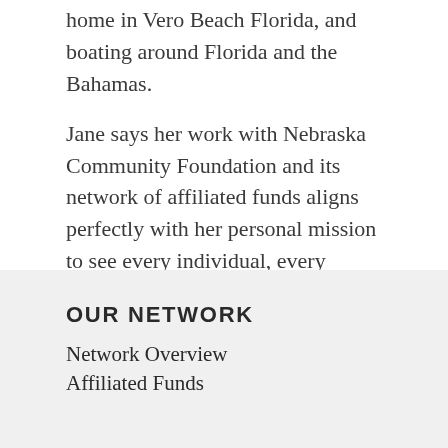home in Vero Beach Florida, and boating around Florida and the Bahamas.
Jane says her work with Nebraska Community Foundation and its network of affiliated funds aligns perfectly with her personal mission to see every individual, every family, and every community be everything they strive for and work to be.
OUR NETWORK
Network Overview
Affiliated Funds